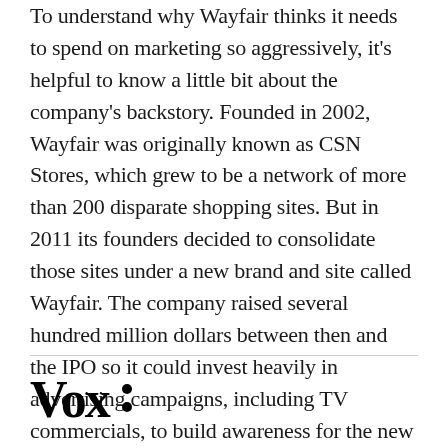To understand why Wayfair thinks it needs to spend on marketing so aggressively, it's helpful to know a little bit about the company's backstory. Founded in 2002, Wayfair was originally known as CSN Stores, which grew to be a network of more than 200 disparate shopping sites. But in 2011 its founders decided to consolidate those sites under a new brand and site called Wayfair. The company raised several hundred million dollars between then and the IPO so it could invest heavily in advertising campaigns, including TV commercials, to build awareness for the new brand and attract new customers.
[Figure (logo): Vox logo in bold black serif font with two decorative dots]